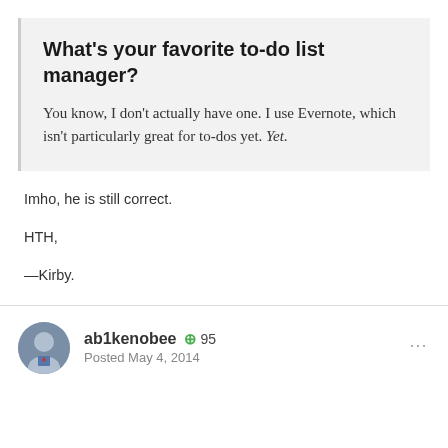What's your favorite to-do list manager?
You know, I don't actually have one. I use Evernote, which isn't particularly great for to-dos yet. Yet.
Imho, he is still correct.
HTH,
—Kirby.
ab1kenobee  95  Posted May 4, 2014